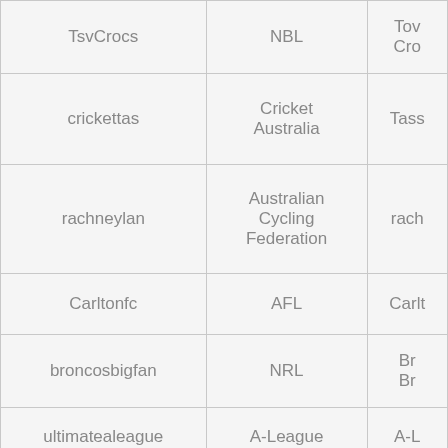| Username | League/Organisation | Club/Team (truncated) |
| --- | --- | --- |
| TsvCrocs | NBL | Tov… Cro… |
| crickettas | Cricket Australia | Tass… |
| rachneylan | Australian Cycling Federation | rach… |
| Carltonfc | AFL | Carlt… |
| broncosbigfan | NRL | Br… Br… |
| ultimatealeague | A-League | A-L… |
| TalkingCarlton | AFL | Carlt… |
| Maverick_weller | AFL | Gol… Foot… |
| chomicide | NBL | Tov… Cro… |
| (truncated) | Swimming | (truncated) |